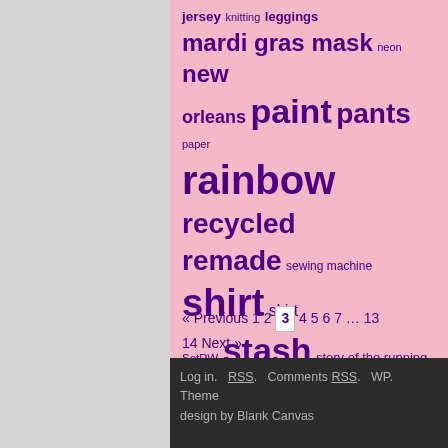jersey knitting leggings mardi gras mask neon new orleans paint pants paper rainbow recycled remade sewing machine shirt skirt SotRW stash story of the running wolf stretch stripes tutorial vest vintage vinyl wedding
« Previous 1 2 3 4 5 6 7 … 13 14 Next »
Log in.  RSS.  Comments RSS.  WP.  Theme design by Blank Canvas